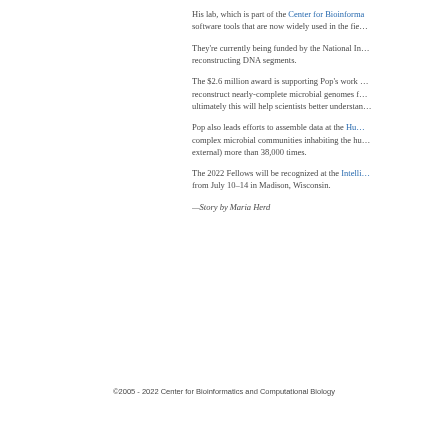His lab, which is part of the Center for Bioinforma… software tools that are now widely used in the fie…
They're currently being funded by the National In… reconstructing DNA segments.
The $2.6 million award is supporting Pop's work … reconstruct nearly-complete microbial genomes f… ultimately this will help scientists better understan…
Pop also leads efforts to assemble data at the Hu… complex microbial communities inhabiting the hu… external) more than 38,000 times.
The 2022 Fellows will be recognized at the Intelli… from July 10–14 in Madison, Wisconsin.
—Story by Maria Herd
©2005 - 2022 Center for Bioinformatics and Computational Biology